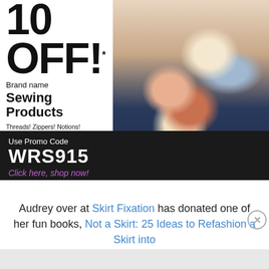[Figure (photo): Advertisement banner showing a woman in a navy floral dress with gold jewelry. Left side shows promotional text: 10% OFF Brand name Sewing Products. Bottom black bar shows promo code WRS915.]
Brand name
Sewing
Products
Threads! Zippers! Notions!
Machines and More!
*10% off orders of $40 or more.
Expires 9/30/2015. Limit one per customer.
Use Promo Code
WRS915
Click here, shop now!
Audrey over at Skirt Fixation has donated one of her fun books, Not a Skirt: 25 Ideas to Refashion a Skirt into
Advertisements